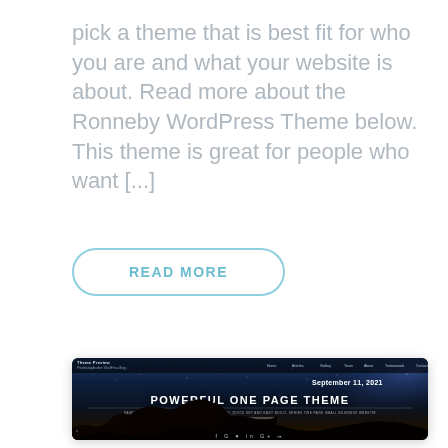pick a theme that is best fit for who you are and what your website is about. Read more about the Ronneby WordPress Theme below. This theme is great for people who want [...]
READ MORE
[Figure (screenshot): Screenshot of the Ronneby WordPress Theme preview page showing a dark space/galaxy themed website with navigation bar, date 'September 11, 2021', large hero text 'POWERFUL ONE PAGE THEME', subtitle about Bootstrap framework, a call-to-action button, mountain silhouette, and social media icons at the bottom.]